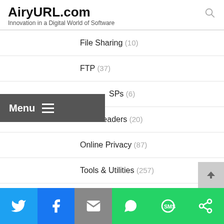AiryURL.com — Innovation in a Digital World of Software
File Sharing (10)
FTP (37)
ISPs (6)
Newsreaders (20)
Online Privacy (87)
Tools & Utilities (257)
Multimedia & Design (5,059)
Social share bar: Twitter, Facebook, Email, WhatsApp, SMS, Share